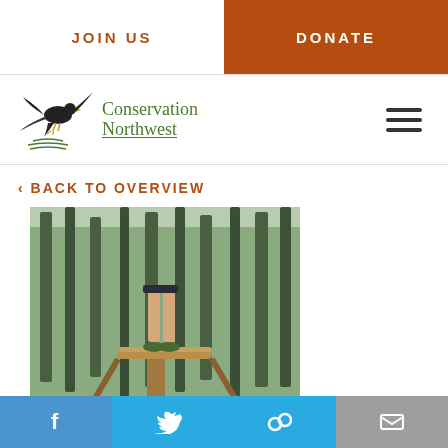JOIN US | DONATE
[Figure (logo): Conservation Northwest logo with eagle silhouette and green text]
‹ BACK TO OVERVIEW
[Figure (photo): Person standing on wooden post/stump structure in a forest with green undergrowth and tall trees]
Jim Clarkson, monitoring CWMP...
Social share bar: Facebook, Twitter, Link, Email